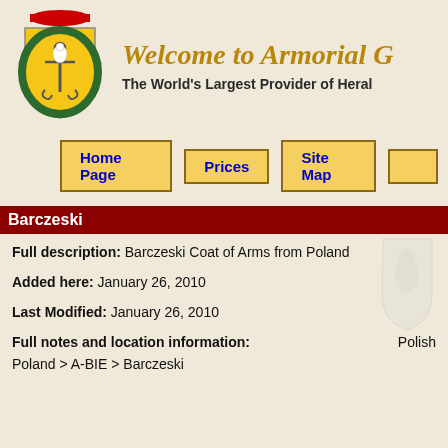[Figure (logo): Armorial Gold heraldic shield logo with anchor, eagle, laurel wreath and red ribbon]
Welcome to Armorial G
The World's Largest Provider of Heral
Home Page | Prices | Site Map
Barczeski
Full description: Barczeski Coat of Arms from Poland
Added here: January 26, 2010
Last Modified: January 26, 2010
Full notes and location information:
Poland > A-BIE > Barczeski
Polish